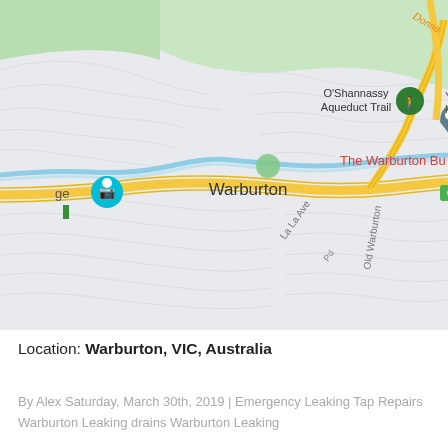[Figure (map): Google Maps view of Warburton, VIC, Australia showing roads, the Yarra River, O'Shannassy Aqueduct Trail, road labels C507 and C511, street names La La Ave and Old Warburton, and place name The Warburton Bu[sh].]
Location: Warburton, VIC, Australia
By Alex Saturday, March 30th, 2019 | Emergency Leaking Tap Repairs Warburton Leaking drains Warburton Leaking